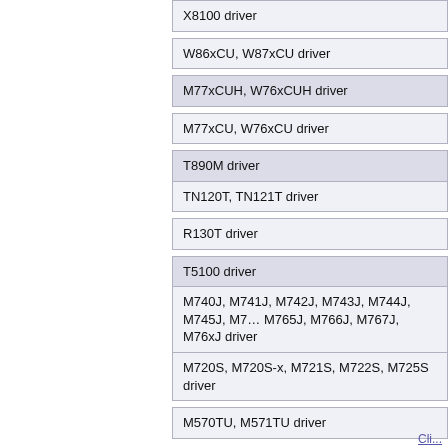| X8100 driver |
| W86xCU, W87xCU driver |
| M77xCUH, W76xCUH driver |
| M77xCU, W76xCU driver |
| T890M driver |
| TN120T, TN121T driver |
| R130T driver |
| T5100 driver |
| M740J, M741J, M742J, M743J, M744J, M745J, M7… M765J, M766J, M767J, M76xJ driver |
| M720S, M720S-x, M721S, M722S, M725S driver |
| M570TU, M571TU driver |
| M540SR, M541SR, M548SR, M549SR driver |
| M660SR, M661SR, M665SR driver |
| B5120, B5121, B5123, B5125 driver |
Cli...